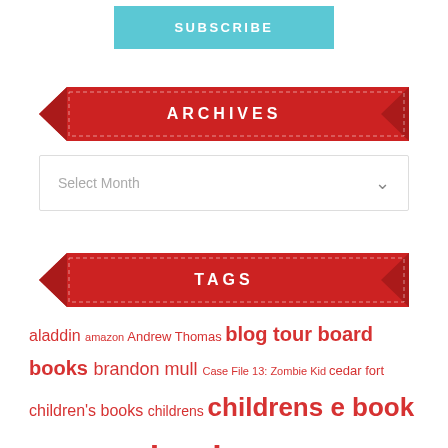SUBSCRIBE
ARCHIVES
Select Month
TAGS
aladdin amazon Andrew Thomas blog tour board books brandon mull Case File 13: Zombie Kid cedar fort children's books childrens childrens e book disney hyperion ebook ebooks Erin Hunter free free ebook free reader friday giveaway